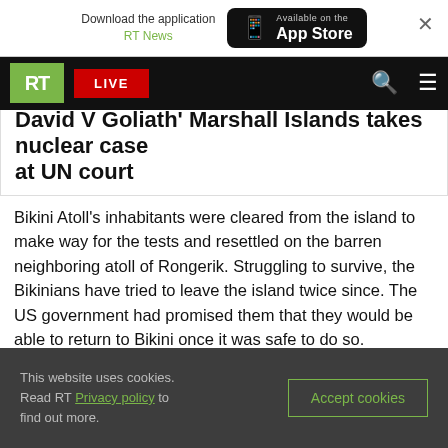Download the application RT News — Available on the App Store
RT LIVE
David V Goliath' Marshall Islands takes nuclear case at UN court
Bikini Atoll's inhabitants were cleared from the island to make way for the tests and resettled on the barren neighboring atoll of Rongerik. Struggling to survive, the Bikinians have tried to leave the island twice since. The US government had promised them that they would be able to return to Bikini once it was safe to do so.
This website uses cookies. Read RT Privacy policy to find out more. Accept cookies